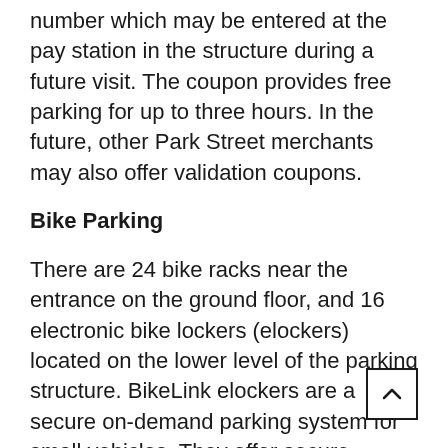number which may be entered at the pay station in the structure during a future visit. The coupon provides free parking for up to three hours. In the future, other Park Street merchants may also offer validation coupons.
Bike Parking
There are 24 bike racks near the entrance on the ground floor, and 16 electronic bike lockers (elockers) located on the lower level of the parking structure. BikeLink elockers are a secure on-demand parking system for small vehicles. They offer secure temporary storage of bicycles, electric bicycles, or scooters. BikeLink cards can be purchased at www.bikelink.org and can be used at any